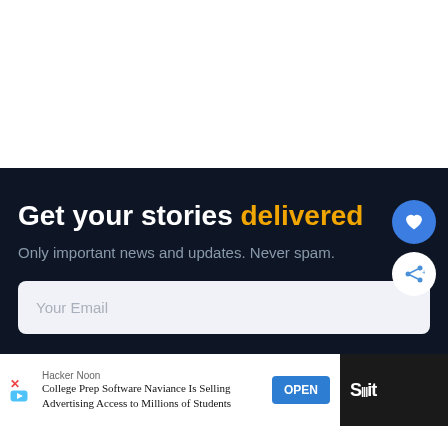Get your stories delivered
Only important news and updates. Never spam.
Your Email
Hacker Noon
College Prep Software Naviance Is Selling Advertising Access to Millions of Students